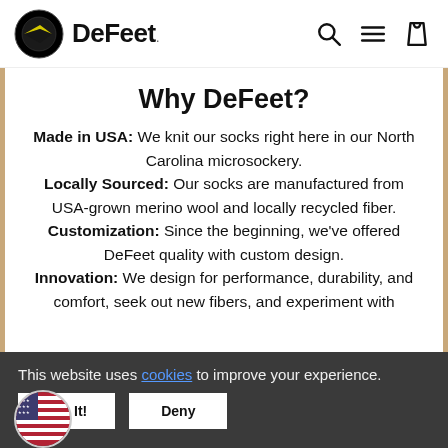DeFeet
Why DeFeet?
Made in USA: We knit our socks right here in our North Carolina microsockery.
Locally Sourced: Our socks are manufactured from USA-grown merino wool and locally recycled fiber.
Customization: Since the beginning, we've offered DeFeet quality with custom design.
Innovation: We design for performance, durability, and comfort, seek out new fibers, and experiment with
This website uses cookies to improve your experience.